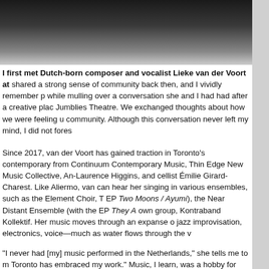[Figure (photo): Dark photographic image at top of page, showing a person partially visible, dark background]
I first met Dutch-born composer and vocalist Lieke van der Voort at shared a strong sense of community back then, and I vividly remember p while mulling over a conversation she and I had had after a creative plac Jumblies Theatre. We exchanged thoughts about how we were feeling u community. Although this conversation never left my mind, I did not fores
Since 2017, van der Voort has gained traction in Toronto's contemporary from Continuum Contemporary Music, Thin Edge New Music Collective, An-Laurence Higgins, and cellist Émilie Girard-Charest. Like Aliermo, va can hear her singing in various ensembles, such as the Element Choir, T EP Two Moons / Ayumi), the Near Distant Ensemble (with the EP They A own group, Kontraband Kollektif. Her music moves through an expanse o jazz improvisation, electronics, voice—much as water flows through the v
"I never had [my] music performed in the Netherlands," she tells me to m Toronto has embraced my work." Music, I learn, was a hobby for van der Toronto ten years ago; formal musical studies did not materialize until sh Voice program at Humber College: "There were no musicians in my fami about being special—[music is] something for cool people and not for no back, one could argue that her childhood hobby of making up radio progr